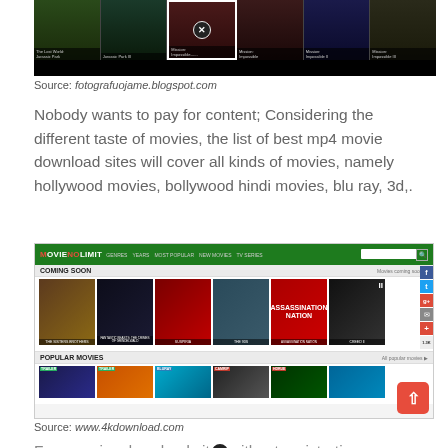[Figure (screenshot): Screenshot of a movie browsing website showing film thumbnails including The Lost World: Jurassic Park, Jurassic Park III, Mission Impossible series with movie title labels beneath]
Source: fotografuojame.blogspot.com
Nobody wants to pay for content; Considering the different taste of movies, the list of best mp4 movie download sites will cover all kinds of movies, namely hollywood movies, bollywood hindi movies, blu ray, 3d,.
[Figure (screenshot): Screenshot of MovieNoLimit website showing Coming Soon and Popular Movies sections with movie poster thumbnails, social media sidebar buttons, and an up-arrow button]
Source: www.4kdownload.com
Free movies download site without registration